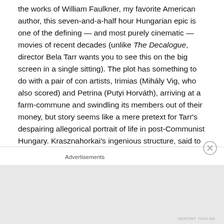the works of William Faulkner, my favorite American author, this seven-and-a-half hour Hungarian epic is one of the defining — and most purely cinematic — movies of recent decades (unlike The Decalogue, director Bela Tarr wants you to see this on the big screen in a single sitting). The plot has something to do with a pair of con artists, Irimias (Mihály Vig, who also scored) and Petrina (Putyi Horváth), arriving at a farm-commune and swindling its members out of their money, but story seems like a mere pretext for Tarr's despairing allegorical portrait of life in post-Communist Hungary. Krasznahorkai's ingenious structure, said to be based on the tango (i.e., six steps forward and six steps back), shows the same narrative
Advertisements